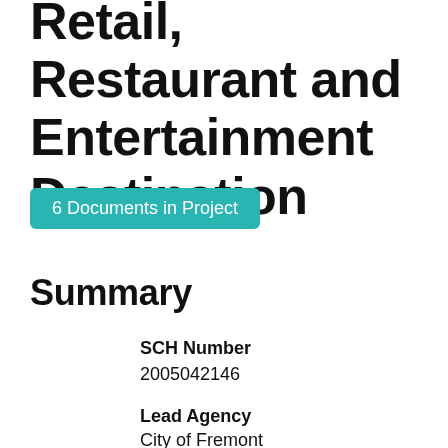Internationally Themed Retail, Restaurant and Entertainment Destination
6 Documents in Project
Summary
SCH Number
2005042146
Lead Agency
City of Fremont